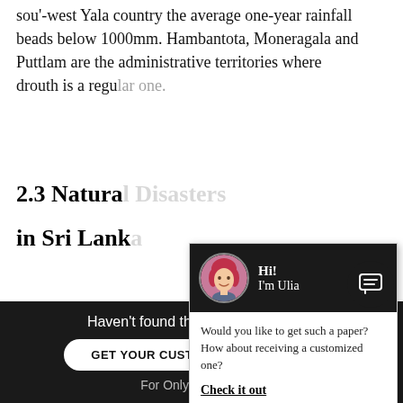sou'-west Yala country the average one-year rainfall beads below 1000mm. Hambantota, Moneragala and Puttlam are the administrative territories where drouth is a regu[lar one].
2.3 Natura[l Disasters] in Sri Lank[a]
2.3.1 Abou[t]
Sri Lanka is an is[land in the Indian] Ocean, located in
[Figure (screenshot): Chat popup with avatar of a woman with pink/red hair on dark background header. Shows 'Hi! I'm Ulia' text and an X close button. Body text: 'Would you like to get such a paper? How about receiving a customized one? Check it out']
[Figure (screenshot): Bottom dark banner: Haven't found the Essay You Want? GET YOUR CUSTOM ESSAY SAMPLE button. For Only $13.90/page]